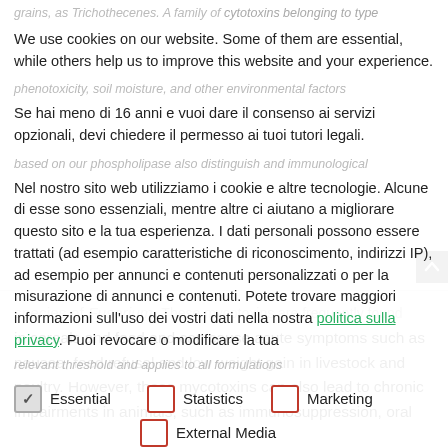(faded) partial text at top
We use cookies on our website. Some of them are essential, while others help us to improve this website and your experience.
(faded) partial text
Se hai meno di 16 anni e vuoi dare il consenso ai servizi opzionali, devi chiedere il permesso ai tuoi tutori legali.
(faded) partial text
Nel nostro sito web utilizziamo i cookie e altre tecnologie. Alcune di esse sono essenziali, mentre altre ci aiutano a migliorare questo sito e la tua esperienza. I dati personali possono essere trattati (ad esempio caratteristiche di riconoscimento, indirizzi IP), ad esempio per annunci e contenuti personalizzati o per la misurazione di annunci e contenuti. Potete trovare maggiori informazioni sull'uso dei vostri dati nella nostra politica sulla privacy. Puoi revocare o modificare la tua
(faded) partial text
Essential  Statistics  Marketing  External Media (checkboxes)
(faded) partial text: T-2 and HT-2 toxin ...produced by different
species of Fusarium. These mycotoxins are frequently found in cereals and feed and can cause acute symptoms such as nausea, feed refusal and low weight gain in livestock and poultry. However, these mycotoxins can also lead to chronic impairments in animals, such as immunosuppression, oral